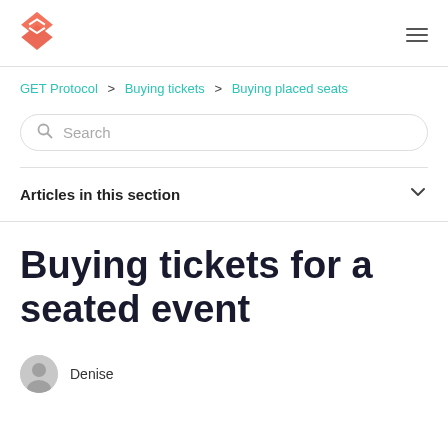GET Protocol logo and navigation
GET Protocol > Buying tickets > Buying placed seats
Search
Articles in this section
Buying tickets for a seated event
Denise